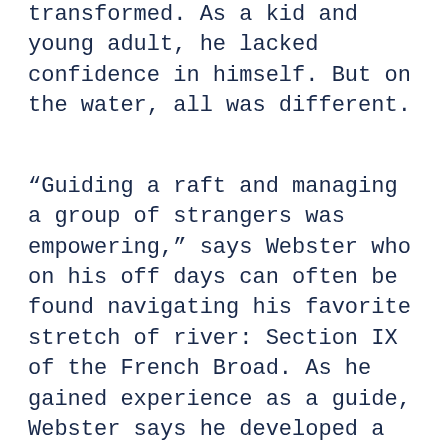transformed. As a kid and young adult, he lacked confidence in himself. But on the water, all was different.
“Guiding a raft and managing a group of strangers was empowering,” says Webster who on his off days can often be found navigating his favorite stretch of river: Section IX of the French Broad. As he gained experience as a guide, Webster says he developed a sense of confidence that flowed into other aspects of his life. Guiding also gave Webster a sense of community with other guides and boaters.